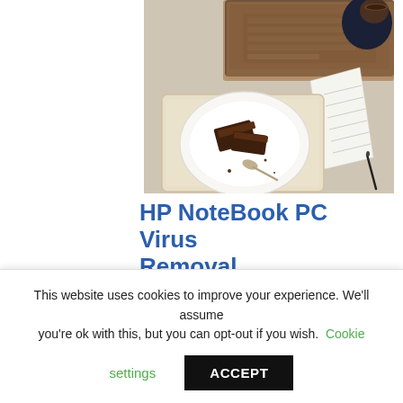[Figure (photo): Overhead/top-down photo of a laptop on a tray with a plate of food (brownies/cake slices), a notebook, a pen, and a coffee cup being held by a person — all on a light linen surface.]
HP NoteBook PC Virus Removal
This website uses cookies to improve your experience. We'll assume you're ok with this, but you can opt-out if you wish. Cookie settings ACCEPT